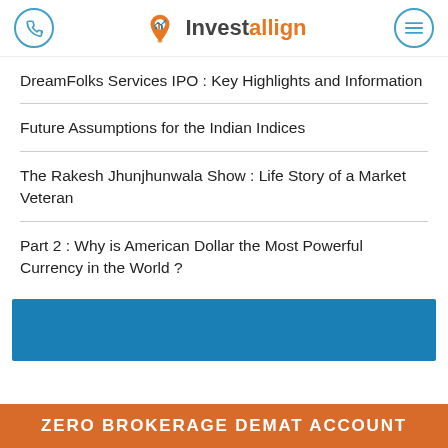Investallign
DreamFolks Services IPO : Key Highlights and Information
Future Assumptions for the Indian Indices
The Rakesh Jhunjhunwala Show : Life Story of a Market Veteran
Part 2 : Why is American Dollar the Most Powerful Currency in the World ?
[Figure (other): Blue promotional banner area for Investallign]
ZERO BROKERAGE DEMAT ACCOUNT